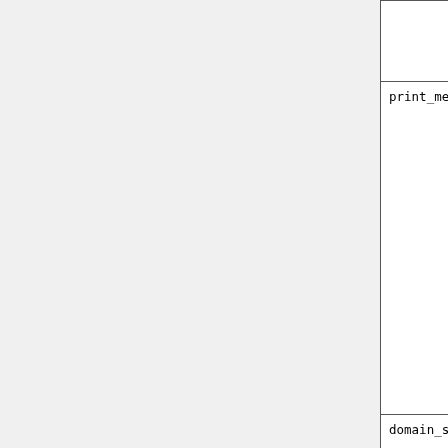| Parameter | Description |
| --- | --- |
|  | below the header |
| print_memory_usage | Toggles memory usage prints to l... However, in practice turning it on or off does no have any effect. |
| domain_stack_size | Domain stack si... in bytes. This is to 20000000 in GCHP to be larg enough to use v few cores in a hi resolution run. If the domain size too small then yo will get an "mpp domain stack siz overflow error" i |